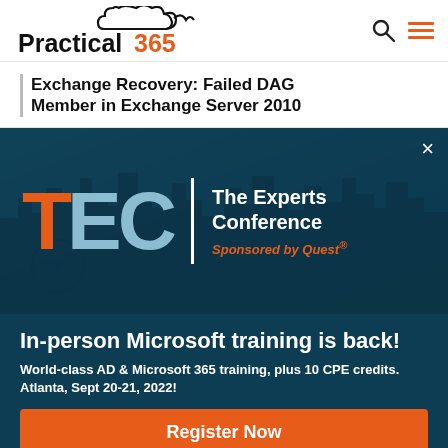Practical 365
Exchange Recovery: Failed DAG Member in Exchange Server 2010
[Figure (infographic): TEC - The Experts Conference advertisement banner with city skyline background. Large TEC letters with T in orange and EC in light blue, vertical white divider line, 'The Experts Conference' in white text, 'Sponsored by Quest' in orange italic text, close X button top right.]
In-person Microsoft training is back!
World-class AD & Microsoft 365 training, plus 10 CPE credits.
Atlanta, Sept 20-21, 2022!
Register Now